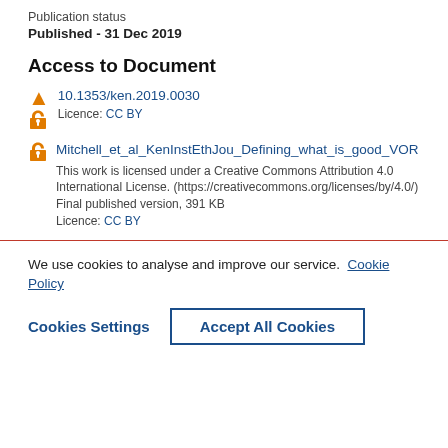Publication status
Published - 31 Dec 2019
Access to Document
10.1353/ken.2019.0030
Licence: CC BY
Mitchell_et_al_KenInstEthJou_Defining_what_is_good_VOR
This work is licensed under a Creative Commons Attribution 4.0 International License. (https://creativecommons.org/licenses/by/4.0/)
Final published version, 391 KB
Licence: CC BY
We use cookies to analyse and improve our service. Cookie Policy
Cookies Settings
Accept All Cookies